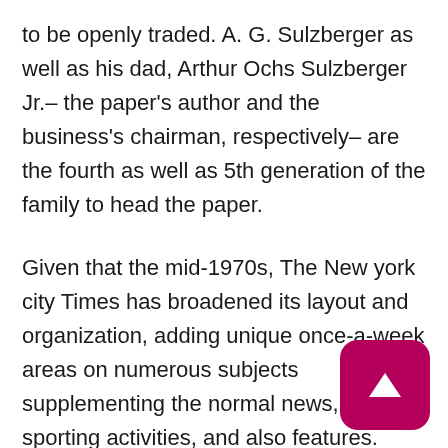to be openly traded. A. G. Sulzberger as well as his dad, Arthur Ochs Sulzberger Jr.– the paper's author and the business's chairman, respectively– are the fourth as well as 5th generation of the family to head the paper.
Given that the mid-1970s, The New york city Times has broadened its layout and organization, adding unique once-a-week areas on numerous subjects supplementing the normal news, content, sporting activities, and also features. Given that 2008, the Times has been arranged into the complying with sections: News, Editorials/Opinions-Columns-Op-Ed, New york city (urban), Organization, Sports, Arts, Science, Styles, House, Traveling, and also various other features. On Sundays, the Times is
[Figure (other): A dark pink/magenta rounded square button with a white upward-pointing triangle (play/scroll-up icon) in the center.]